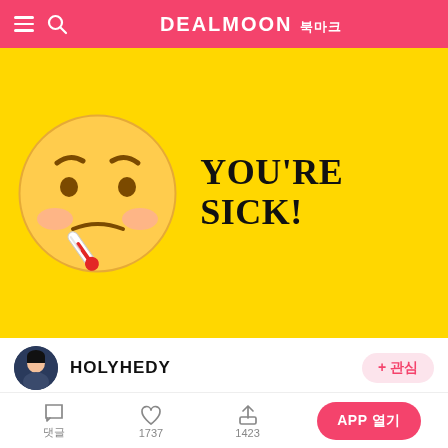DEALMOON 북마크
[Figure (illustration): Yellow background banner with a sick face emoji (thermometer in mouth, rosy cheeks) and bold text reading YOU'RE SICK!]
HOLYHEDY
+ 관심
감기걸렸을 때 | 약사로부터받은꼭먹어야할!
댓글  좋아요 1737  공유 1423  APP 열기